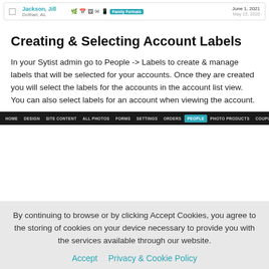[Figure (screenshot): A screenshot of a Sytist admin interface showing a table row with a person named Jackson, Jill from Dothan, AL, with icons, a 'Family Fortnals' label badge, and dates June 1, 2021 and May 15, 2020]
Creating & Selecting Account Labels
In your Sytist admin go to People -> Labels to create & manage labels that will be selected for your accounts. Once they are created you will select the labels for the accounts in the account list view. You can also select labels for an account when viewing the account.
[Figure (screenshot): Screenshot of a dark navigation bar with menu items: HOME, DESIGN, SITE CONTENT, ALL PHOTOS, FORMS, SETTINGS, ORDERS, PEOPLE (highlighted/active), PHOTO PRODUCTS, COUPONS, STATS, REPORTS, CALENDAR, and more]
By continuing to browse or by clicking Accept Cookies, you agree to the storing of cookies on your device necessary to provide you with the services available through our website.
Accept   Privacy & Cookie Policy